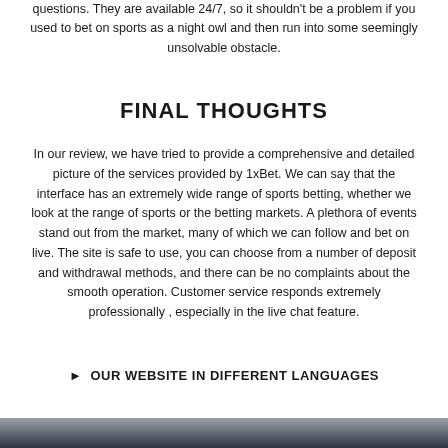questions. They are available 24/7, so it shouldn't be a problem if you used to bet on sports as a night owl and then run into some seemingly unsolvable obstacle.
FINAL THOUGHTS
In our review, we have tried to provide a comprehensive and detailed picture of the services provided by 1xBet. We can say that the interface has an extremely wide range of sports betting, whether we look at the range of sports or the betting markets. A plethora of events stand out from the market, many of which we can follow and bet on live. The site is safe to use, you can choose from a number of deposit and withdrawal methods, and there can be no complaints about the smooth operation. Customer service responds extremely professionally , especially in the live chat feature.
▶ OUR WEBSITE IN DIFFERENT LANGUAGES